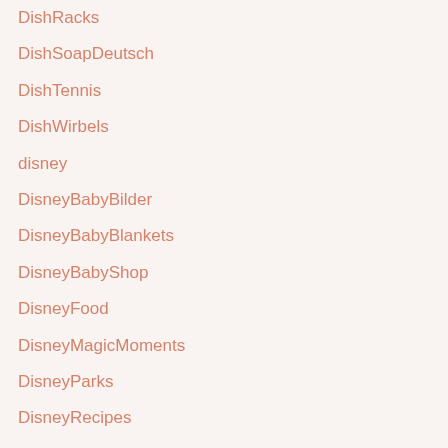DishRacks
DishSoapDeutsch
DishTennis
DishWirbels
disney
DisneyBabyBilder
DisneyBabyBlankets
DisneyBabyShop
DisneyFood
DisneyMagicMoments
DisneyParks
DisneyRecipes
Display
DisplayDriverUninstaller
DisplayDriverUninstallerWindows10